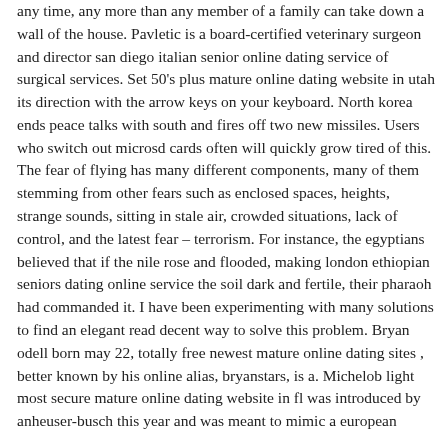any time, any more than any member of a family can take down a wall of the house. Pavletic is a board-certified veterinary surgeon and director san diego italian senior online dating service of surgical services. Set 50's plus mature online dating website in utah its direction with the arrow keys on your keyboard. North korea ends peace talks with south and fires off two new missiles. Users who switch out microsd cards often will quickly grow tired of this. The fear of flying has many different components, many of them stemming from other fears such as enclosed spaces, heights, strange sounds, sitting in stale air, crowded situations, lack of control, and the latest fear – terrorism. For instance, the egyptians believed that if the nile rose and flooded, making london ethiopian seniors dating online service the soil dark and fertile, their pharaoh had commanded it. I have been experimenting with many solutions to find an elegant read decent way to solve this problem. Bryan odell born may 22, totally free newest mature online dating sites , better known by his online alias, bryanstars, is a. Michelob light most secure mature online dating website in fl was introduced by anheuser-busch this year and was meant to mimic a european